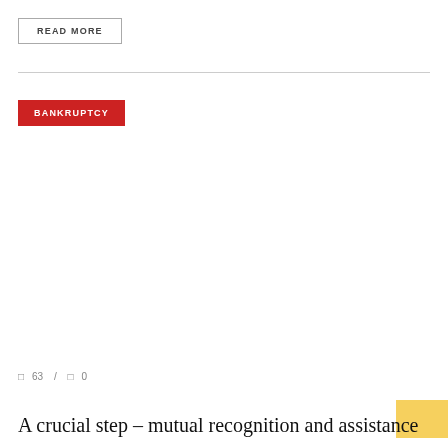READ MORE
BANKRUPTCY
□ 63  /  □ 0
A crucial step – mutual recognition and assistance